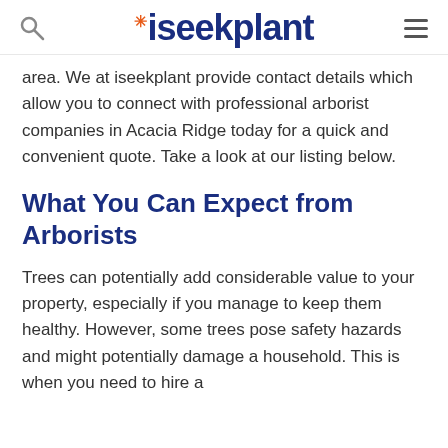iseekplant
area. We at iseekplant provide contact details which allow you to connect with professional arborist companies in Acacia Ridge today for a quick and convenient quote. Take a look at our listing below.
What You Can Expect from Arborists
Trees can potentially add considerable value to your property, especially if you manage to keep them healthy. However, some trees pose safety hazards and might potentially damage a household. This is when you need to hire a